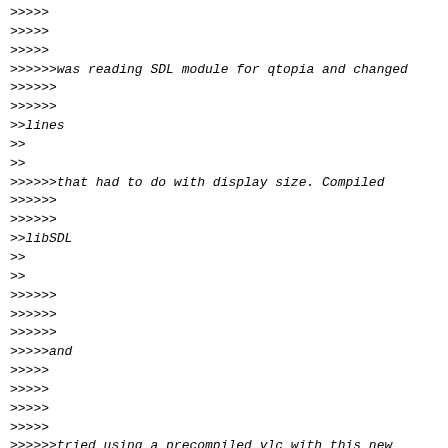>>>>>
>>>>>
>>>>>
>>>>>>was reading SDL module for qtopia and changed
>>>>>>
>>>>>>
>>lines
>>
>>
>>>>>>that had to do with display size. Compiled
>>>>>>
>>>>>>
>>libSDL
>>
>>
>>>>>>
>>>>>>
>>>>>>
>>>>>and
>>>>>
>>>>>
>>>>>
>>>>>
>>>>>>tried using a precompiled vlc with this new
>>>>>>compilation but the problem remains. I've been
>>>>>>
>>>>>>
>>>>>>
>>>>>reading
>>>>>